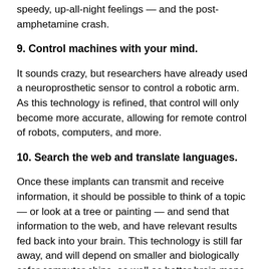speedy, up-all-night feelings — and the post-amphetamine crash.
9. Control machines with your mind.
It sounds crazy, but researchers have already used a neuroprosthetic sensor to control a robotic arm. As this technology is refined, that control will only become more accurate, allowing for remote control of robots, computers, and more.
10. Search the web and translate languages.
Once these implants can transmit and receive information, it should be possible to think of a topic — or look at a tree or painting — and send that information to the web, and have relevant results fed back into your brain. This technology is still far away, and will depend on smaller and biologically safer computer chips, as well as better brain maps.